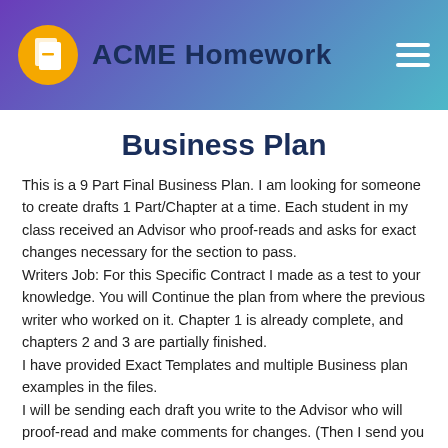ACME Homework
Business Plan
This is a 9 Part Final Business Plan. I am looking for someone to create drafts 1 Part/Chapter at a time. Each student in my class received an Advisor who proof-reads and asks for exact changes necessary for the section to pass.
Writers Job: For this Specific Contract I made as a test to your knowledge. You will Continue the plan from where the previous writer who worked on it. Chapter 1 is already complete, and chapters 2 and 3 are partially finished.
I have provided Exact Templates and multiple Business plan examples in the files.
I will be sending each draft you write to the Advisor who will proof-read and make comments for changes. (Then I send you his comments)
This contract is only 110$ and I will make a new contract for the rest of the plan if you are able to write the sections